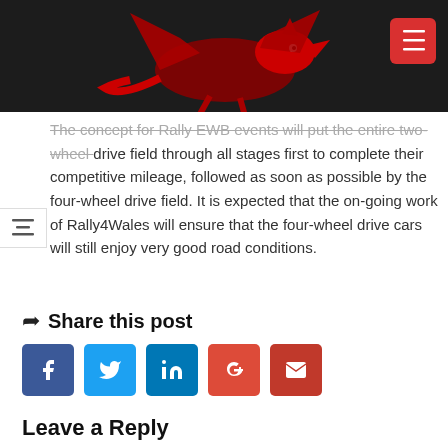[Figure (illustration): Dark banner with red Welsh dragon logo in the center and a red menu button (hamburger icon) in the top right corner.]
The concept for Rally EWB events will put the entire two-wheel drive field through all stages first to complete their competitive mileage, followed as soon as possible by the four-wheel drive field. It is expected that the on-going work of Rally4Wales will ensure that the four-wheel drive cars will still enjoy very good road conditions.
Share this post
[Figure (infographic): Row of social media sharing buttons: Facebook (blue), Twitter (light blue), LinkedIn (dark blue), Google+ (red-orange), Email (dark red).]
Leave a Reply
Your email address will not be published. Required fields